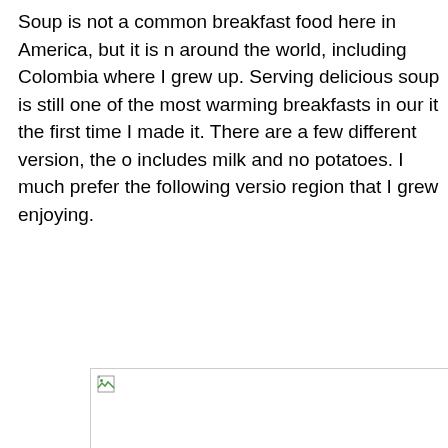Soup is not a common breakfast food here in America, but it is n around the world, including Colombia where I grew up. Serving delicious soup is still one of the most warming breakfasts in our it the first time I made it. There are a few different version, the o includes milk and no potatoes. I much prefer the following versio region that I grew enjoying.
[Figure (photo): Broken/missing image placeholder with a small broken image icon in the top-left corner]